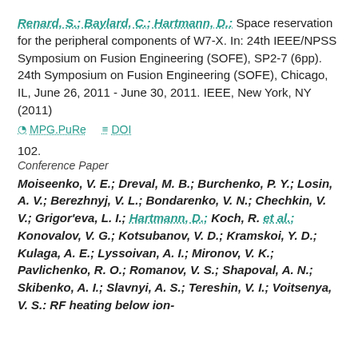Renard, S.; Baylard, C.; Hartmann, D.: Space reservation for the peripheral components of W7-X. In: 24th IEEE/NPSS Symposium on Fusion Engineering (SOFE), SP2-7 (6pp). 24th Symposium on Fusion Engineering (SOFE), Chicago, IL, June 26, 2011 - June 30, 2011. IEEE, New York, NY (2011)
MPG.PuRe   DOI
102.
Conference Paper
Moiseenko, V. E.; Dreval, M. B.; Burchenko, P. Y.; Losin, A. V.; Berezhnyj, V. L.; Bondarenko, V. N.; Chechkin, V. V.; Grigor'eva, L. I.; Hartmann, D.; Koch, R. et al.; Konovalov, V. G.; Kotsubanov, V. D.; Kramskoi, Y. D.; Kulaga, A. E.; Lyssoivan, A. I.; Mironov, V. K.; Pavlichenko, R. O.; Romanov, V. S.; Shapoval, A. N.; Skibenko, A. I.; Slavnyi, A. S.; Tereshin, V. I.; Voitsenya, V. S.: RF heating below ion-